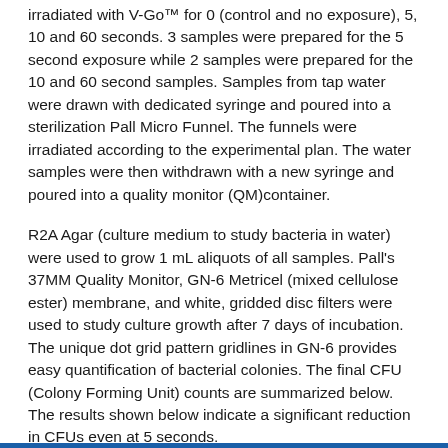irradiated with V-Go™ for 0 (control and no exposure), 5, 10 and 60 seconds.  3 samples were prepared for the 5 second exposure while 2 samples were prepared for the 10 and 60 second samples.  Samples from tap water were drawn with dedicated syringe and poured into a sterilization Pall Micro Funnel.  The funnels were irradiated according to the experimental plan. The water samples were then withdrawn with a new syringe and poured into a quality monitor (QM)container.
R2A Agar (culture medium to study bacteria in water) were used to grow 1 mL aliquots of all samples.  Pall's 37MM Quality Monitor, GN-6 Metricel (mixed cellulose ester) membrane, and white, gridded disc filters were used to study culture growth after 7 days of incubation. The unique dot grid pattern gridlines in GN-6 provides easy quantification of bacterial colonies.  The final CFU (Colony Forming Unit) counts are summarized below.  The results shown below indicate a significant reduction in CFUs even at 5 seconds.